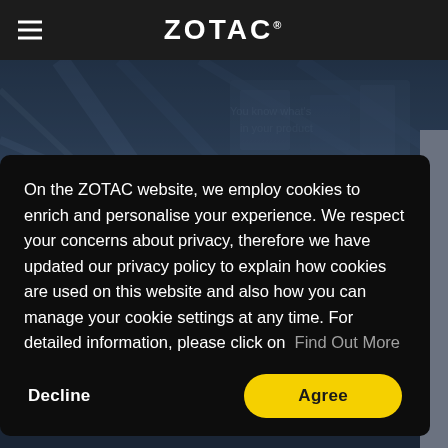ZOTAC
[Figure (screenshot): Dark blue background showing partial view of ZOTAC hardware/machinery]
On the ZOTAC website, we employ cookies to enrich and personalise your experience. We respect your concerns about privacy, therefore we have updated our privacy policy to explain how cookies are used on this website and also how you can manage your cookie settings at any time. For detailed information, please click on Find Out More
Decline
Agree